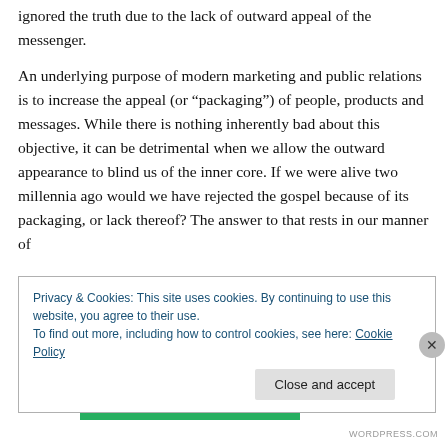...ignored the truth due to the lack of outward appeal of the messenger.
An underlying purpose of modern marketing and public relations is to increase the appeal (or "packaging") of people, products and messages. While there is nothing inherently bad about this objective, it can be detrimental when we allow the outward appearance to blind us of the inner core. If we were alive two millennia ago would we have rejected the gospel because of its packaging, or lack thereof? The answer to that rests in our manner of
Privacy & Cookies: This site uses cookies. By continuing to use this website, you agree to their use.
To find out more, including how to control cookies, see here: Cookie Policy
Close and accept
WORDPRESS.COM